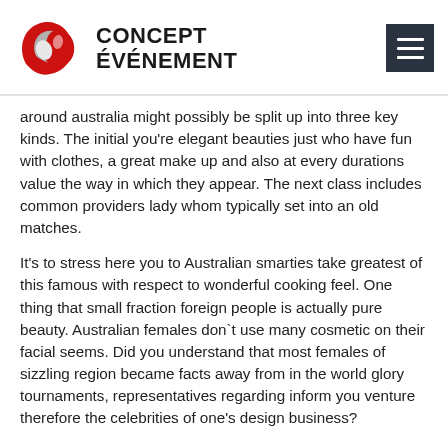[Figure (logo): Concept Événement logo with red swirl graphic and bold black text]
around australia might possibly be split up into three key kinds. The initial you're elegant beauties just who have fun with clothes, a great make up and also at every durations value the way in which they appear. The next class includes common providers lady whom typically set into an old matches.
It's to stress here you to Australian smarties take greatest of this famous with respect to wonderful cooking feel. One thing that small fraction foreign people is actually pure beauty. Australian females don`t use many cosmetic on their facial seems. Did you understand that most females of sizzling region became facts away from in the world glory tournaments, representatives regarding inform you venture therefore the celebrities of one's design business?
Suits has actually a payment-100 % free variation, however the standard general advice is that you could you need a good paid down subscription having people